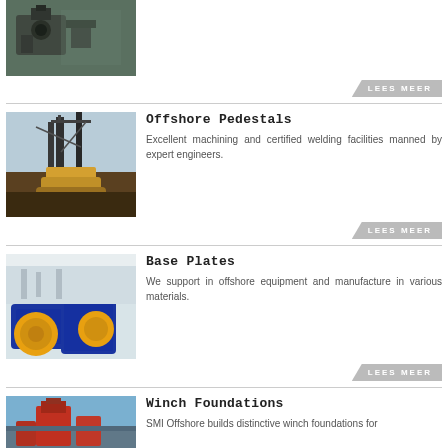[Figure (photo): Partial view of industrial machinery/equipment (top of page, cropped)]
LEES MEER
Offshore Pedestals
Excellent machining and certified welding facilities manned by expert engineers.
[Figure (photo): Offshore pedestal structure with crane, yellow and black equipment by water]
LEES MEER
Base Plates
We support in offshore equipment and manufacture in various materials.
[Figure (photo): Blue industrial base plate equipment with yellow motor in a white room]
LEES MEER
Winch Foundations
SMI Offshore builds distinctive winch foundations for